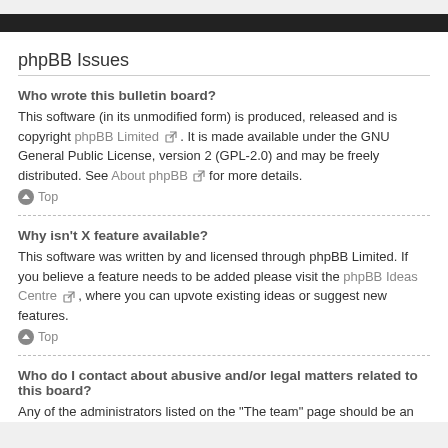phpBB Issues
Who wrote this bulletin board?
This software (in its unmodified form) is produced, released and is copyright phpBB Limited. It is made available under the GNU General Public License, version 2 (GPL-2.0) and may be freely distributed. See About phpBB for more details.
⬆ Top
Why isn't X feature available?
This software was written by and licensed through phpBB Limited. If you believe a feature needs to be added please visit the phpBB Ideas Centre, where you can upvote existing ideas or suggest new features.
⬆ Top
Who do I contact about abusive and/or legal matters related to this board?
Any of the administrators listed on the "The team" page should be an